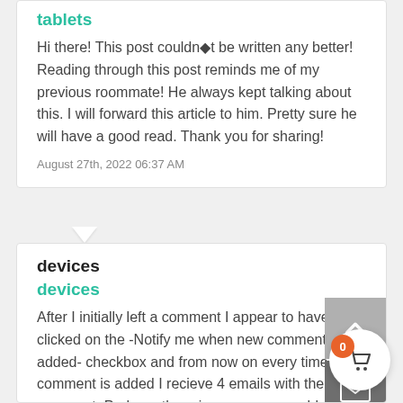tablets
Hi there! This post couldn◆t be written any better! Reading through this post reminds me of my previous roommate! He always kept talking about this. I will forward this article to him. Pretty sure he will have a good read. Thank you for sharing!
August 27th, 2022 06:37 AM
devices
devices
After I initially left a comment I appear to have clicked on the -Notify me when new comments are added- checkbox and from now on every time a comment is added I recieve 4 emails with the same comment. Perhaps there is a means you able to rem...